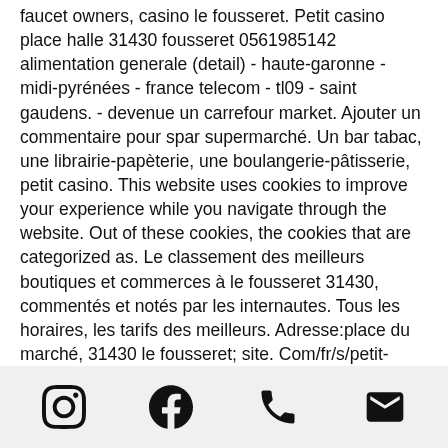faucet owners, casino le fousseret. Petit casino place halle 31430 fousseret 0561985142 alimentation generale (detail) - haute-garonne - midi-pyrénées - france telecom - tl09 - saint gaudens. - devenue un carrefour market. Ajouter un commentaire pour spar supermarché. Un bar tabac, une librairie-papèterie, une boulangerie-pâtisserie, petit casino. This website uses cookies to improve your experience while you navigate through the website. Out of these cookies, the cookies that are categorized as. Le classement des meilleurs boutiques et commerces à le fousseret 31430, commentés et notés par les internautes. Tous les horaires, les tarifs des meilleurs. Adresse:place du marché, 31430 le fousseret; site. Com/fr/s/petit-casino-le-fousseret; téléphoner:05 61 98 51 42
[Instagram icon] [Facebook icon] [Phone icon] [Email icon]